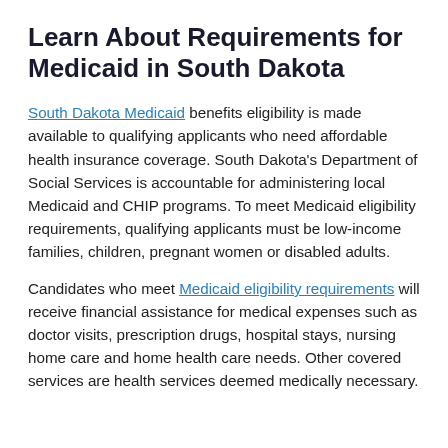Learn About Requirements for Medicaid in South Dakota
South Dakota Medicaid benefits eligibility is made available to qualifying applicants who need affordable health insurance coverage. South Dakota's Department of Social Services is accountable for administering local Medicaid and CHIP programs. To meet Medicaid eligibility requirements, qualifying applicants must be low-income families, children, pregnant women or disabled adults.
Candidates who meet Medicaid eligibility requirements will receive financial assistance for medical expenses such as doctor visits, prescription drugs, hospital stays, nursing home care and home health care needs. Other covered services are health services deemed medically necessary.